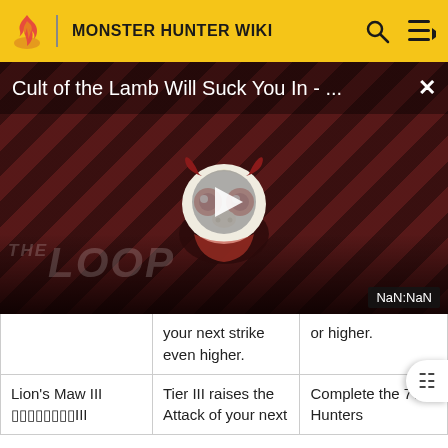MONSTER HUNTER WIKI
[Figure (screenshot): Video overlay showing 'Cult of the Lamb Will Suck You In - ...' with a dark diagonal striped background, a mascot character, a play button, 'THE LOOP' watermark, and NaN:NaN timestamp badge.]
|  | your next strike even higher. | or higher. |
| Lion's Maw III ▯▯▯▯▯▯▯▯III | Tier III raises the Attack of your next | Complete the 7★ Hunters |